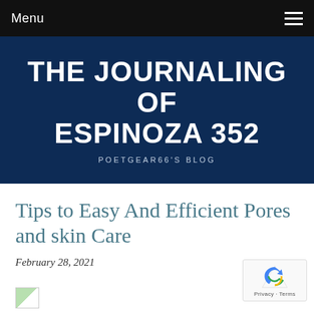Menu
THE JOURNALING OF ESPINOZA 352
POETGEAR66'S BLOG
Tips to Easy And Efficient Pores and skin Care
February 28, 2021